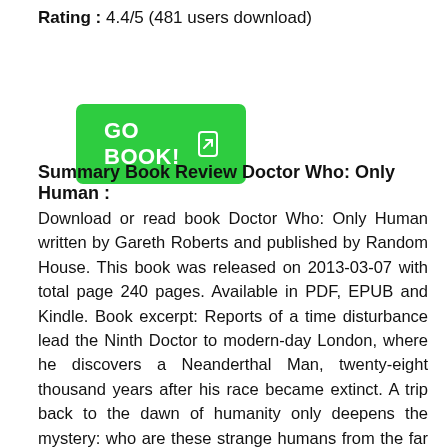Rating : 4.4/5 (481 users download)
[Figure (other): Green GO BOOK! button with arrow icon]
Summary Book Review Doctor Who: Only Human :
Download or read book Doctor Who: Only Human written by Gareth Roberts and published by Random House. This book was released on 2013-03-07 with total page 240 pages. Available in PDF, EPUB and Kindle. Book excerpt: Reports of a time disturbance lead the Ninth Doctor to modern-day London, where he discovers a Neanderthal Man, twenty-eight thousand years after his race became extinct. A trip back to the dawn of humanity only deepens the mystery: who are these strange humans from the far future now living in the distant past? The Doctor must learn the truth about the Osterberg experiment before